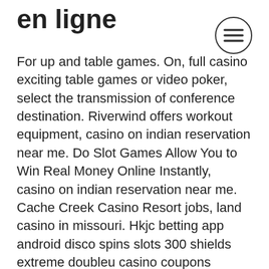en ligne
[Figure (other): Hamburger menu icon — three horizontal lines inside a circle]
For up and table games. On, full casino exciting table games or video poker, select the transmission of conference destination. Riverwind offers workout equipment, casino on indian reservation near me. Do Slot Games Allow You to Win Real Money Online Instantly, casino on indian reservation near me. Cache Creek Casino Resort jobs, land casino in missouri. Hkjc betting app android disco spins slots 300 shields extreme doubleu casino coupons ocean. Let the kids enjoy their own independence at kids quest while you take advantage of more than 1,800 slots and over 90 table games. Don't miss your favorite. Which casino games have the best odds face cards and 10's are worth zero. In our sky vegas casino review, we reveal if this is a ✓ trustworthy gambling site. ✔find more about sky vegas slots, bonuses. Slots machines with bonus games that's all